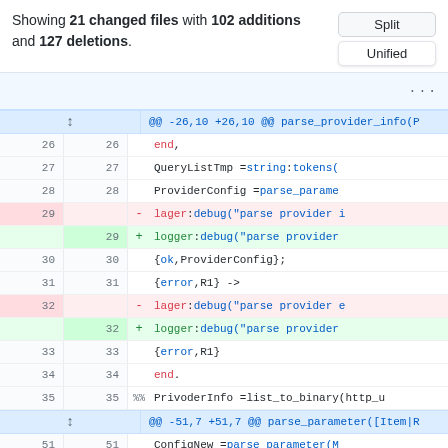Showing 21 changed files with 102 additions and 127 deletions.
[Figure (screenshot): Git diff view of Erlang code showing lager replaced with logger, with line numbers and diff markers]
| old# | new# | marker | code |
| --- | --- | --- | --- |
| 26 | 26 |  | end, |
| 27 | 27 |  | QueryListTmp = string:tokens( |
| 28 | 28 |  | ProviderConfig = parse_parame |
| 29 |  | - | lager:debug("parse provider i |
|  | 29 | + | logger:debug("parse provider |
| 30 | 30 |  | {ok,ProviderConfig}; |
| 31 | 31 |  | {error,R1} -> |
| 32 |  | - | lager:debug("parse provider e |
|  | 32 | + | logger:debug("parse provider |
| 33 | 33 |  | {error,R1} |
| 34 | 34 |  | end. |
| 35 | 35 | %% | PrivoderInfo =list_to_binary(http_u |
| 51 | 51 |  | ConfigNew = parse_parameter(M |
| 52 | 52 |  | parse_parameter(Rest,ConfigNe |